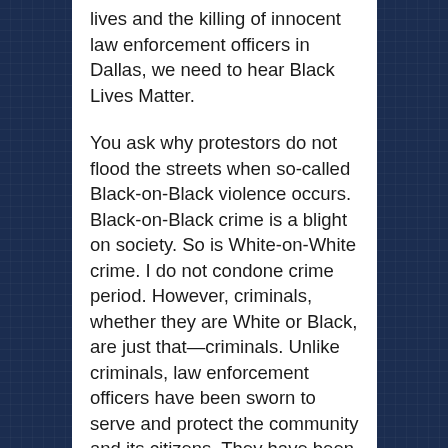lives and the killing of innocent law enforcement officers in Dallas, we need to hear Black Lives Matter.
You ask why protestors do not flood the streets when so-called Black-on-Black violence occurs. Black-on-Black crime is a blight on society. So is White-on-White crime. I do not condone crime period. However, criminals, whether they are White or Black, are just that—criminals. Unlike criminals, law enforcement officers have been sworn to serve and protect the community and its citizens. They have been licensed to use deadly force to do so. Thus, [text continues off page]